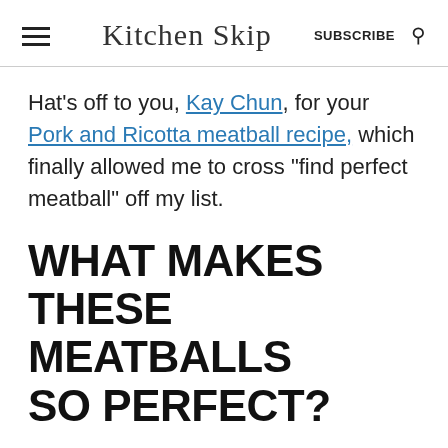Kitchen Skip | SUBSCRIBE
Hat's off to you, Kay Chun, for your Pork and Ricotta meatball recipe, which finally allowed me to cross "find perfect meatball" off my list.
WHAT MAKES THESE MEATBALLS SO PERFECT?
Flavorful